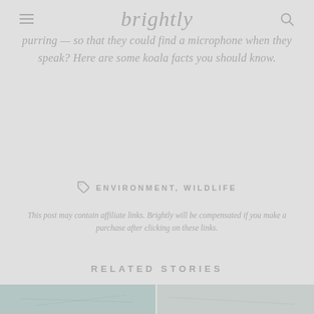brightly
purring — so that they could find a microphone when they speak? Here are some koala facts you should know.
ENVIRONMENT, WILDLIFE
This post may contain affiliate links. Brightly will be compensated if you make a purchase after clicking on these links.
RELATED STORIES
[Figure (photo): Two related story thumbnail images at the bottom of the page]